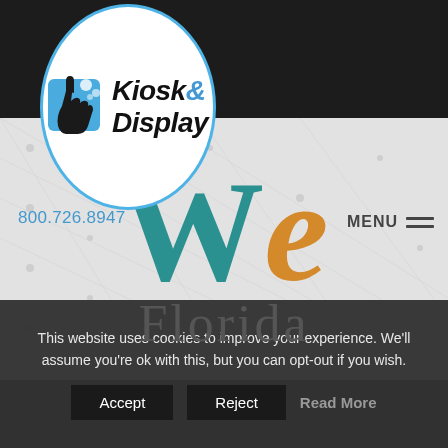[Figure (logo): Kiosk & Display logo with touchscreen hand icon in a blue square, inside a circular white badge with blue border. Text reads 'Kiosk & Display' in bold italic with '&' in blue.]
[Figure (screenshot): Website screenshot showing a light gray grid-patterned background with large teal 'W' and orange italic 'e' letters, and 'Florida' text below them, representing the 'We Florida' branding. A phone number '800.726.8947' appears top-left and a 'MENU' hamburger button top-right.]
This website uses cookies to improve your experience. We'll assume you're ok with this, but you can opt-out if you wish.
Accept
Reject
Read More